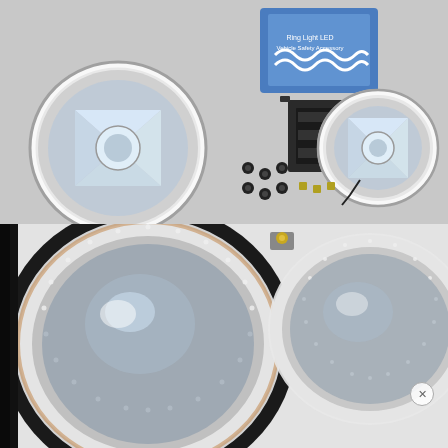[Figure (photo): Product photo showing two round fog lights with clear glass and chrome rings, mounting bracket, wiring harness in blue package, and hardware screws on a gray surface.]
[Figure (photo): Close-up photo of two round fog lights with LED angel eye halo rings, showing detailed chrome bezel and clear glass lens detail. A small close/dismiss button (X) is visible in the lower right.]